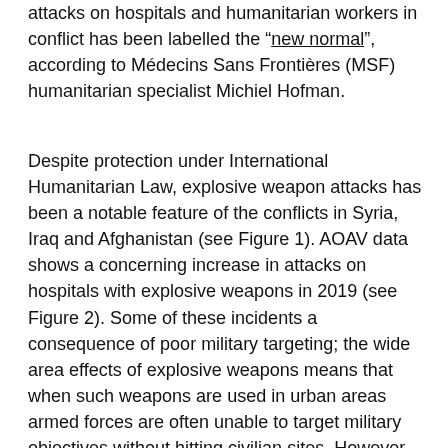attacks on hospitals and humanitarian workers in conflict has been labelled the “new normal”, according to Médecins Sans Frontières (MSF) humanitarian specialist Michiel Hofman.
Despite protection under International Humanitarian Law, explosive weapon attacks has been a notable feature of the conflicts in Syria, Iraq and Afghanistan (see Figure 1). AOAV data shows a concerning increase in attacks on hospitals with explosive weapons in 2019 (see Figure 2). Some of these incidents a consequence of poor military targeting; the wide area effects of explosive weapons means that when such weapons are used in urban areas armed forces are often unable to target military objectives without hitting civilian sites. However, many of these strikes have been callous and intended. These violations form part of military strategies of disruption, where healthcare is ‘weaponize’ and hospitals and clinics are seen as